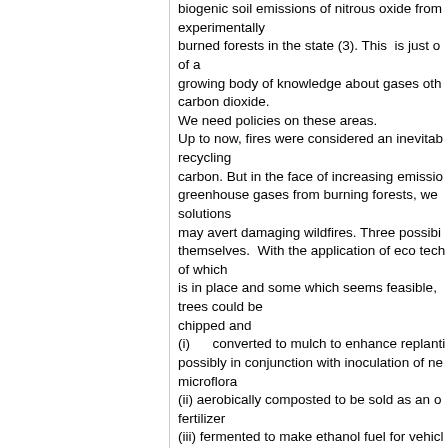biogenic soil emissions of nitrous oxide from experimentally burned forests in the state (3). This is just of a growing body of knowledge about gases other than carbon dioxide. We need policies on these areas. Up to now, fires were considered an inevitable recycling carbon. But in the face of increasing emissions of greenhouse gases from burning forests, we solutions may avert damaging wildfires. Three possibilities themselves. With the application of eco tech of which is in place and some which seems feasible, trees could be chipped and (i) converted to mulch to enhance replanting, possibly in conjunction with inoculation of new microflora (ii) aerobically composted to be sold as an organic fertilizer (iii) fermented to make ethanol fuel for vehicles. Biodiversity and sustainability concerns suggest replanting should be in the context of forest restoration